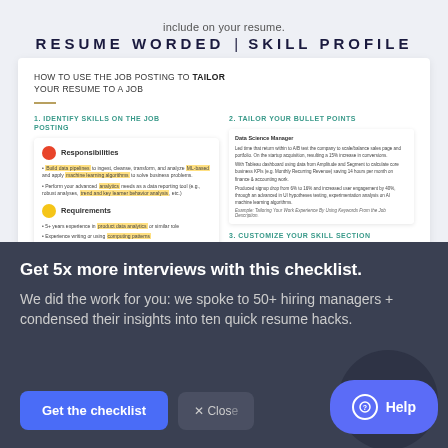include on your resume.
RESUME WORDED | SKILL PROFILE
HOW TO USE THE JOB POSTING TO TAILOR YOUR RESUME TO A JOB
[Figure (infographic): Infographic showing two-column guide: left column '1. Identify Skills on the Job Posting' with a document showing Responsibilities (red dot) and Requirements (yellow dot) sections with highlighted text; right column '2. Tailor Your Bullet Points' showing a resume bullet points panel, and '3. Customize Your Skill Section' showing a skills section panel.]
Get 5x more interviews with this checklist.
We did the work for you: we spoke to 50+ hiring managers + condensed their insights into ten quick resume hacks.
Get the checklist
× Close
Help